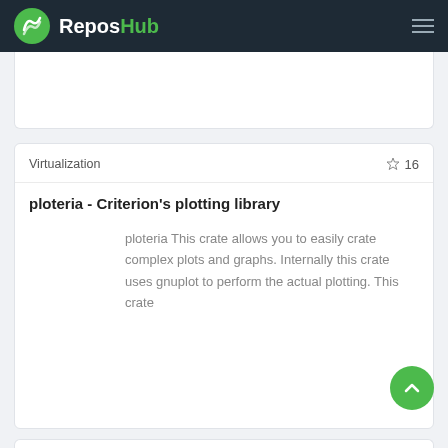ReposHub
Virtualization
16
ploteria - Criterion's plotting library
ploteria This crate allows you to easily crate complex plots and graphs. Internally this crate uses gnuplot to perform the actual plotting. This crate
Virtualization
940